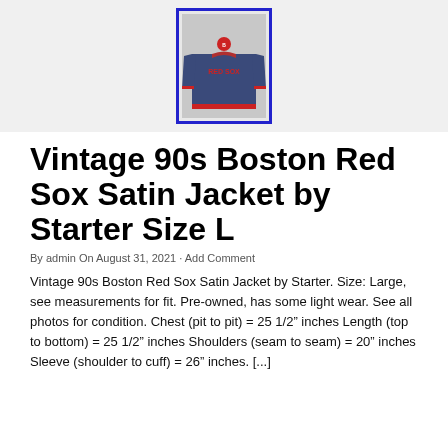[Figure (photo): Photo of a vintage Boston Red Sox satin jacket by Starter, navy blue with red lettering, displayed on a white background, inside a blue-bordered frame on a gray banner.]
Vintage 90s Boston Red Sox Satin Jacket by Starter Size L
By admin On August 31, 2021 · Add Comment
Vintage 90s Boston Red Sox Satin Jacket by Starter. Size: Large, see measurements for fit. Pre-owned, has some light wear. See all photos for condition. Chest (pit to pit) = 25 1/2" inches Length (top to bottom) = 25 1/2" inches Shoulders (seam to seam) = 20" inches Sleeve (shoulder to cuff) = 26" inches. [...]